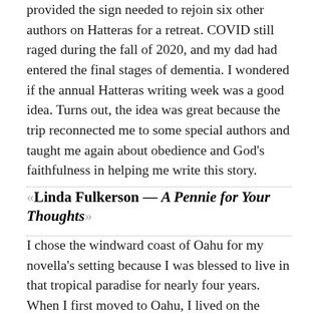provided the sign needed to rejoin six other authors on Hatteras for a retreat. COVID still raged during the fall of 2020, and my dad had entered the final stages of dementia. I wondered if the annual Hatteras writing week was a good idea. Turns out, the idea was great because the trip reconnected me to some special authors and taught me again about obedience and God's faithfulness in helping me write this story.
Linda Fulkerson — A Pennie for Your Thoughts
I chose the windward coast of Oahu for my novella's setting because I was blessed to live in that tropical paradise for nearly four years. When I first moved to Oahu, I lived on the opposite side of the island, so each morning I drove across the Likelike Highway to